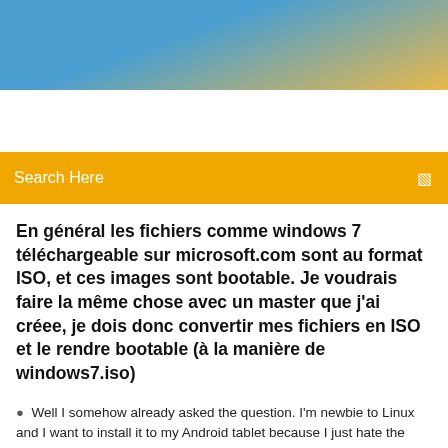[Figure (screenshot): Blue and yellow gradient website header banner]
Search Here
En général les fichiers comme windows 7 téléchargeable sur microsoft.com sont au format ISO, et ces images sont bootable. Je voudrais faire la même chose avec un master que j'ai créee, je dois donc convertir mes fichiers en ISO et le rendre bootable (à la manière de windows7.iso)
Well I somehow already asked the question. I'm newbie to Linux and I want to install it to my Android tablet because I just hate the firmware tablet.  |